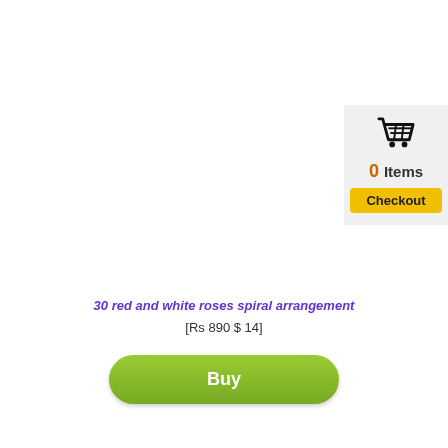[Figure (screenshot): Shopping cart widget showing cart icon, 0 Items, and Checkout button on a light gray background]
30 red and white roses spiral arrangement
[Rs 890 $ 14]
[Figure (other): Green rounded Buy button]